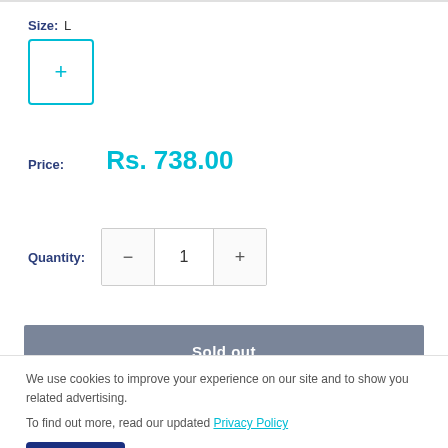Size: L
[Figure (other): Size selector box with a plus/L icon, teal border]
Price: Rs. 738.00
Quantity: 1
Sold out
We use cookies to improve your experience on our site and to show you related advertising.
To find out more, read our updated Privacy Policy
Accept